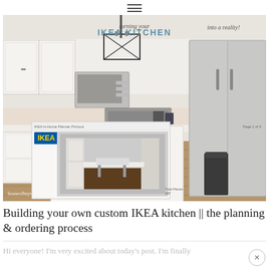hamburger menu icon
[Figure (photo): Photo of a white IKEA kitchen with stainless steel appliances, black pendant chandelier, white shaker-style cabinets, quartz countertops, and hardwood floors. Overlaid in the lower-left is an IKEA Home Planner printout showing a 3D kitchen layout rendering. Watermark text reads 'houseofhepworths.com'. At the top of the image is handwritten-style and bold text reading 'turning your IKEA KITCHEN into a reality!']
Building your own custom IKEA kitchen || the planning & ordering process
Hi everyone! I'm very excited about today's post. I'm finally